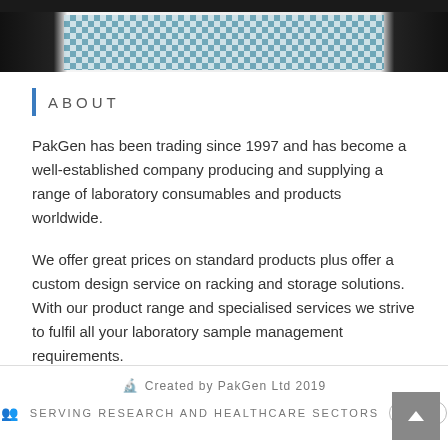[Figure (photo): Product image strip showing laboratory consumable packaging with a teal/blue checkered pattern on white background, flanked by dark borders]
ABOUT
PakGen has been trading since 1997 and has become a well-established company producing and supplying a range of laboratory consumables and products worldwide.
We offer great prices on standard products plus offer a custom design service on racking and storage solutions. With our product range and specialised services we strive to fulfil all your laboratory sample management requirements.
Created by PakGen Ltd 2019
SERVING RESEARCH AND HEALTHCARE SECTORS